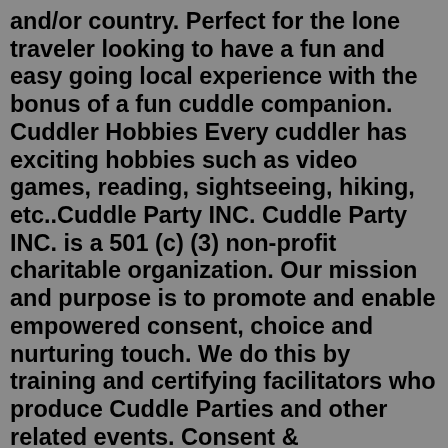and/or country. Perfect for the lone traveler looking to have a fun and easy going local experience with the bonus of a fun cuddle companion. Cuddler Hobbies Every cuddler has exciting hobbies such as video games, reading, sightseeing, hiking, etc..Cuddle Party INC. Cuddle Party INC. is a 501 (c) (3) non-profit charitable organization. Our mission and purpose is to promote and enable empowered consent, choice and nurturing touch. We do this by training and certifying facilitators who produce Cuddle Parties and other related events. Consent & Boundaries. Meet amazing cuddle companions near you and around the world today with Cuddle Companions! Experience the healing touch of cuddling with our growing list of 100% real and verified cuddlers. Take cuddlers with you on vacation, business trips, or overnights stays at your place or theirs. Our companions love hobbies while cuddling. Select one Snuggler with whom to enjoy your relaxing snuggling session. 45 minute session: $50. 60 minute session: $60. 90 minute session: $80. THE DOUBLE...